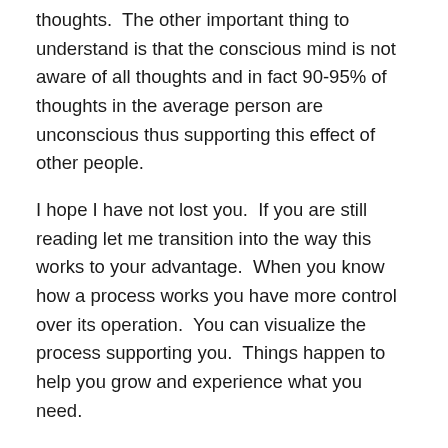thoughts.  The other important thing to understand is that the conscious mind is not aware of all thoughts and in fact 90-95% of thoughts in the average person are unconscious thus supporting this effect of other people.
I hope I have not lost you.  If you are still reading let me transition into the way this works to your advantage.  When you know how a process works you have more control over its operation.  You can visualize the process supporting you.  Things happen to help you grow and experience what you need.
Often people go to the library to study or relax in a place of silence, or go to the mall for the excitement of shopping and seeing many other people.  In this way you cope with your moods and feelings.  You are using the power of place to shape your experience!  Let's say you are at a bar